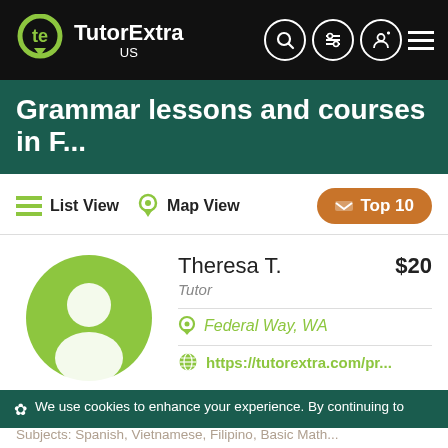TutorExtra US
Grammar lessons and courses in F...
List View   Map View   Top 10
Theresa T.  $20
Tutor
Federal Way, WA
https://tutorextra.com/pr...
Send Message
I can help with English essays, improving punctuation, grammar, etc. mathematics up to algebra 1 (I have taken pre-calculus),...
We use cookies to enhance your experience. By continuing to
Subjects: Spanish, Vietnamese, Filipino, Basic Math...